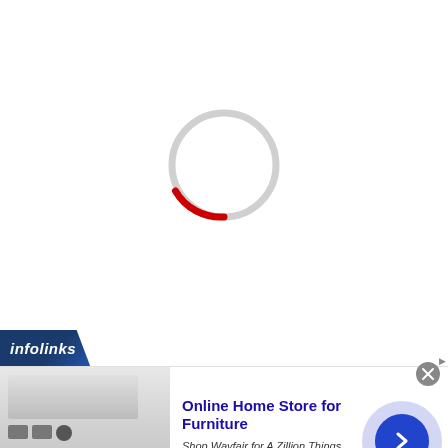[Figure (other): A loading spinner circle with a red arc segment on a white background, indicating a page or content is loading.]
[Figure (logo): Infolinks logo banner in dark blue with italic white text 'infolinks' on a slanted blue badge.]
[Figure (screenshot): An online advertisement for Wayfair's Online Home Store for Furniture. Shows appliance product images on the left, ad title 'Online Home Store for Furniture', description 'Shop Wayfair for A Zillion Things Home across all styles', URL 'www.wayfair.com', a close button, and a navigation arrow button.]